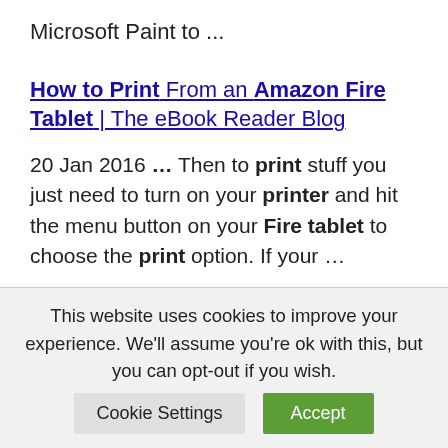Microsoft Paint to ...
How to Print From an Amazon Fire Tablet | The eBook Reader Blog
20 Jan 2016 ... Then to print stuff you just need to turn on your printer and hit the menu button on your Fire tablet to choose the print option. If your ...
How to Print From an Amazon Fire – Simple Help
This website uses cookies to improve your experience. We'll assume you're ok with this, but you can opt-out if you wish.